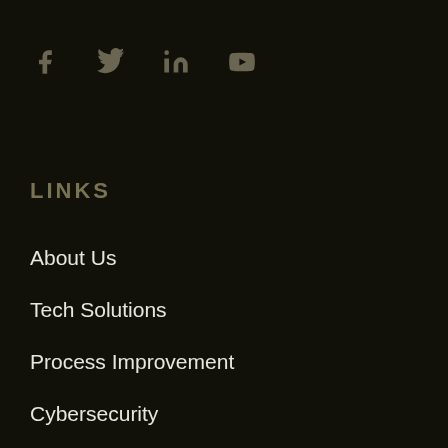[Figure (other): Social media icons: Facebook, Twitter, LinkedIn, YouTube]
LINKS
About Us
Tech Solutions
Process Improvement
Cybersecurity
Digital Transformation